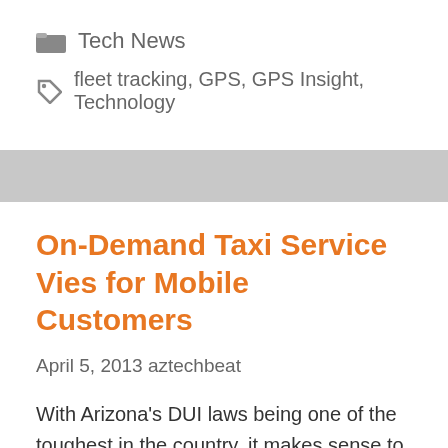Tech News
fleet tracking, GPS, GPS Insight, Technology
On-Demand Taxi Service Vies for Mobile Customers
April 5, 2013 aztechbeat
With Arizona's DUI laws being one of the toughest in the country, it makes sense to grab a cab after a few-but waiting around for a ride is a necessary inconvenience. Companies such as